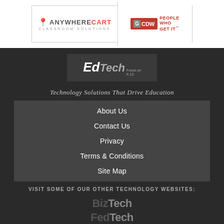[Figure (logo): AnywhereCart Classroom Solutions logo and CDW-G People Who Get It logo side by side in a bordered box]
[Figure (logo): EdTech Focus on K-12 logo in dark grey box]
Technology Solutions That Drive Education
About Us
Contact Us
Privacy
Terms & Conditions
Site Map
VISIT SOME OF OUR OTHER TECHNOLOGY WEBSITES:
[Figure (logo): BizTech logo]
[Figure (logo): FedTech logo]